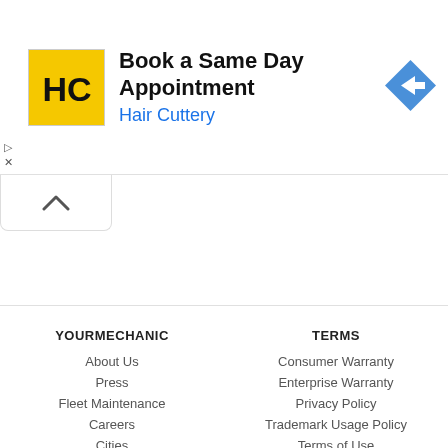[Figure (screenshot): Advertisement banner for Hair Cuttery - Book a Same Day Appointment]
YOURMECHANIC
About Us
Press
Fleet Maintenance
Careers
Cities
Cars
Estimates
Scheduled Maintenance
TERMS
Consumer Warranty
Enterprise Warranty
Privacy Policy
Trademark Usage Policy
Terms of Use
BAR License: ARD00266575
FL License: MV94592